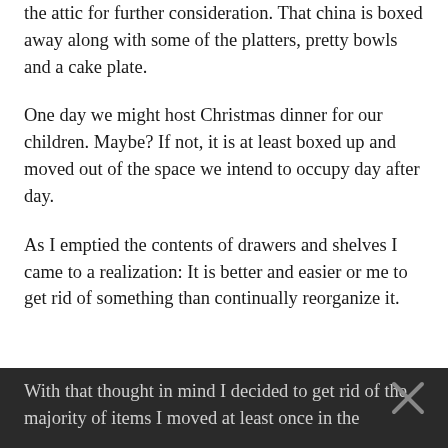the attic for further consideration. That china is boxed away along with some of the platters, pretty bowls and a cake plate.
One day we might host Christmas dinner for our children. Maybe? If not, it is at least boxed up and moved out of the space we intend to occupy day after day.
As I emptied the contents of drawers and shelves I came to a realization: It is better and easier or me to get rid of something than continually reorganize it.
With that thought in mind I decided to get rid of the majority of items I moved at least once in the